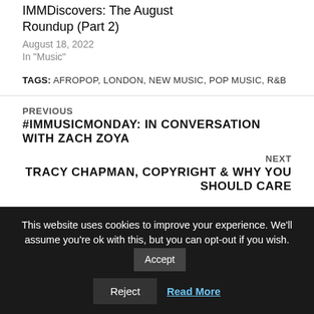IMMDiscovers: The August Roundup (Part 2)
August 18, 2022
In "Music"
TAGS: AFROPOP, LONDON, NEW MUSIC, POP MUSIC, R&B
PREVIOUS
#IMMUSICMONDAY: IN CONVERSATION WITH ZACH ZOYA
NEXT
TRACY CHAPMAN, COPYRIGHT & WHY YOU SHOULD CARE
This website uses cookies to improve your experience. We'll assume you're ok with this, but you can opt-out if you wish.
Accept
Reject
Read More